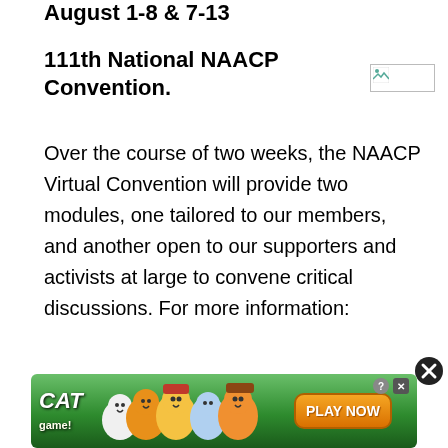August 1-8 & 7-13
111th National NAACP Convention.
[Figure (photo): Broken/unloaded image placeholder in top right area]
Over the course of two weeks, the NAACP Virtual Convention will provide two modules, one tailored to our members, and another open to our supporters and activists at large to convene critical discussions. For more information:
[Figure (screenshot): Cat Game advertisement banner at bottom of page with animated cat characters and Play Now button]